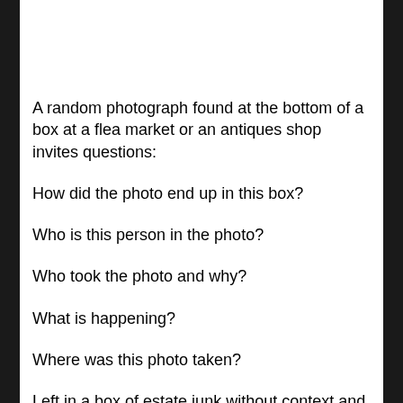A random photograph found at the bottom of a box at a flea market or an antiques shop invites questions:
How did the photo end up in this box?
Who is this person in the photo?
Who took the photo and why?
What is happening?
Where was this photo taken?
Left in a box of estate junk without context and often without any identification on the back of the image, it is left to interpretation and reinvention. This project is an artist experiment to breathe life into found vintage photographs.
Found vintage photography can be intriguing: Idyllic luscious settings, expressive eyes and mouths capture our attention. A mundane snapshot of everyday...